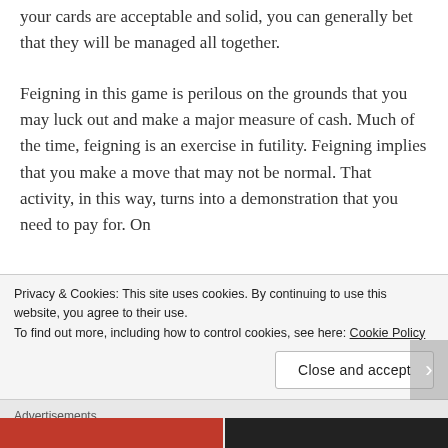your cards are acceptable and solid, you can generally bet that they will be managed all together.
Feigning in this game is perilous on the grounds that you may luck out and make a major measure of cash. Much of the time, feigning is an exercise in futility. Feigning implies that you make a move that may not be normal. That activity, in this way, turns into a demonstration that you need to pay for. On
Privacy & Cookies: This site uses cookies. By continuing to use this website, you agree to their use.
To find out more, including how to control cookies, see here: Cookie Policy
Close and accept
Advertisements